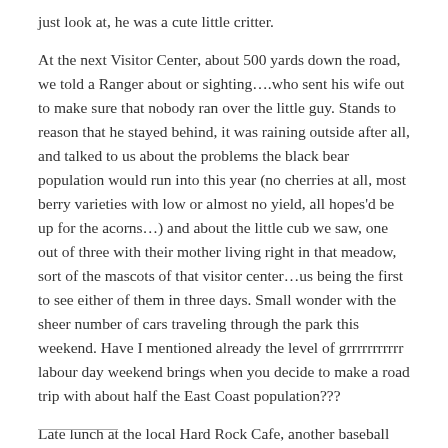just look at, he was a cute little critter.
At the next Visitor Center, about 500 yards down the road, we told a Ranger about or sighting….who sent his wife out to make sure that nobody ran over the little guy. Stands to reason that he stayed behind, it was raining outside after all, and talked to us about the problems the black bear population would run into this year (no cherries at all, most berry varieties with low or almost no yield, all hopes'd be up for the acorns…) and about the little cub we saw, one out of three with their mother living right in that meadow, sort of the mascots of that visitor center…us being the first to see either of them in three days. Small wonder with the sheer number of cars traveling through the park this weekend. Have I mentioned already the level of grrrrrrrrrrr labour day weekend brings when you decide to make a road trip with about half the East Coast population???
Late lunch at the local Hard Rock Cafe, another baseball cap for my collection, a Harley Davidson t-shirt from the local store…and now we are back at the hotel, deciding on extending our stay for another night to, well, take in more of the tourist trap that is Gatlinburg and surrounding area. And no, I will not talk about the quilt Mel bought. Nu-uh.